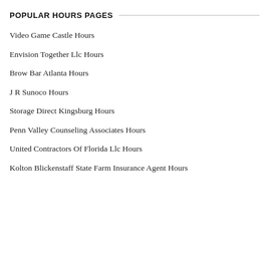POPULAR HOURS PAGES
Video Game Castle Hours
Envision Together Llc Hours
Brow Bar Atlanta Hours
J R Sunoco Hours
Storage Direct Kingsburg Hours
Penn Valley Counseling Associates Hours
United Contractors Of Florida Llc Hours
Kolton Blickenstaff State Farm Insurance Agent Hours